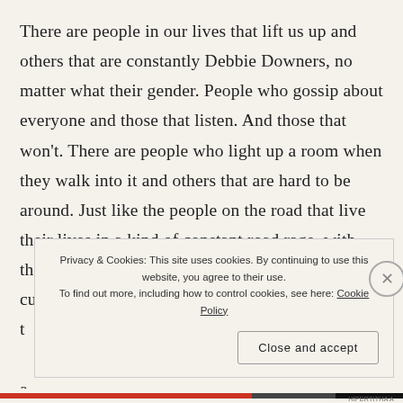There are people in our lives that lift us up and others that are constantly Debbie Downers, no matter what their gender. People who gossip about everyone and those that listen. And those that won't. There are people who light up a room when they walk into it and others that are hard to be around. Just like the people on the road that live their lives in a kind of constant road rage, with their hand always on the horn while they tail and cut everyone off in t a r
Privacy & Cookies: This site uses cookies. By continuing to use this website, you agree to their use. To find out more, including how to control cookies, see here: Cookie Policy
Close and accept
HIPERTITHA A